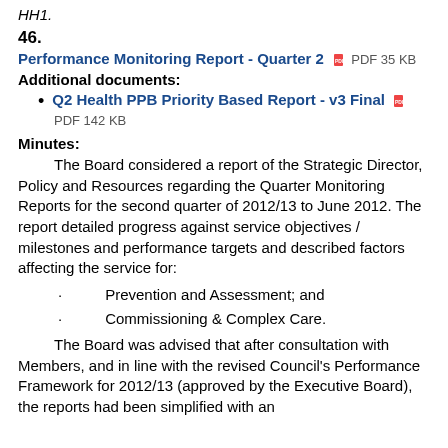HH1.
46.
Performance Monitoring Report - Quarter 2  PDF 35 KB
Additional documents:
Q2 Health PPB Priority Based Report - v3 Final  PDF 142 KB
Minutes:
The Board considered a report of the Strategic Director, Policy and Resources regarding the Quarter Monitoring Reports for the second quarter of 2012/13 to June 2012. The report detailed progress against service objectives / milestones and performance targets and described factors affecting the service for:
Prevention and Assessment; and
Commissioning & Complex Care.
The Board was advised that after consultation with Members, and in line with the revised Council's Performance Framework for 2012/13 (approved by the Executive Board), the reports had been simplified with an